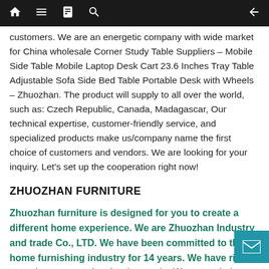[navigation bar with home, menu, book, search icons and back arrow]
customers. We are an energetic company with wide market for China wholesale Corner Study Table Suppliers – Mobile Side Table Mobile Laptop Desk Cart 23.6 Inches Tray Table Adjustable Sofa Side Bed Table Portable Desk with Wheels – Zhuozhan. The product will supply to all over the world, such as: Czech Republic, Canada, Madagascar, Our technical expertise, customer-friendly service, and specialized products make us/company name the first choice of customers and vendors. We are looking for your inquiry. Let's set up the cooperation right now!
ZHUOZHAN FURNITURE
Zhuozhan furniture is designed for you to create a different home experience. We are Zhuozhan Industry and trade Co., LTD. We have been committed to the home furnishing industry for 14 years. We have rich experience exporting foreign trade. We not only have our own plate...